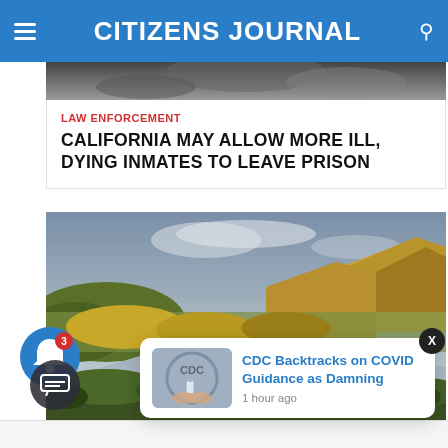CITIZENS JOURNAL
[Figure (photo): Partial image strip at top of article card showing dark background]
LAW ENFORCEMENT
CALIFORNIA MAY ALLOW MORE ILL, DYING INMATES TO LEAVE PRISON
[Figure (photo): Landscape nature photo showing a winding river through grasslands with rocky cliffs and mountains in the background under a cloudy sky]
[Figure (photo): CDC notification popup thumbnail showing hands holding a vaccine vial with CDC logo]
CDC Backtracks on COVID Guidance as Damning
1 hour ago